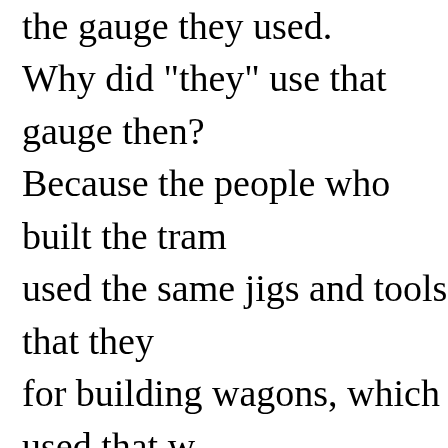the gauge they used. Why did "they" use that gauge then? Because the people who built the tram used the same jigs and tools that they for building wagons, which used that w spacing. Okay! Why did the wagons that odd wheel spacing? Well, if they to use any other spacing the wagons w break on some of the old, long distanc